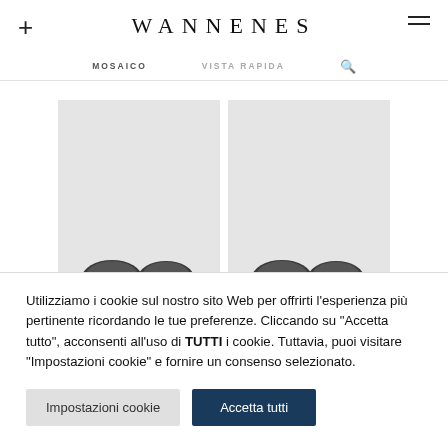WANNENES
MOSAICO   VISTA RAPIDA
[Figure (photo): Two product cards showing ancient coins displayed on light gray backgrounds, bottoms of coins visible at lower edge of cards.]
Utilizziamo i cookie sul nostro sito Web per offrirti l'esperienza più pertinente ricordando le tue preferenze. Cliccando su "Accetta tutto", acconsenti all'uso di TUTTI i cookie. Tuttavia, puoi visitare "Impostazioni cookie" e fornire un consenso selezionato.
Impostazioni cookie   Accetta tutti